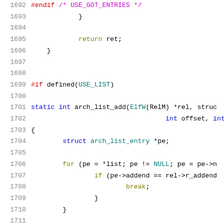[Figure (screenshot): Source code listing in C, lines 1692-1713, showing preprocessor directives, function definition arch_list_add, and control flow with for loop and if statement. Syntax highlighted with line numbers.]